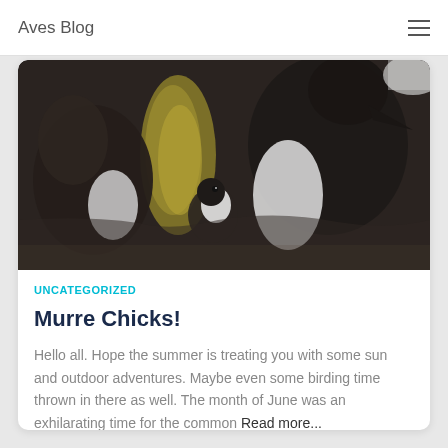Aves Blog
[Figure (photo): Close-up photograph of murre birds (black and white seabirds) perched on rocky ledge with yellow lichen, showing chicks and adults.]
UNCATEGORIZED
Murre Chicks!
Hello all. Hope the summer is treating you with some sun and outdoor adventures. Maybe even some birding time thrown in there as well. The month of June was an exhilarating time for the common Read more...